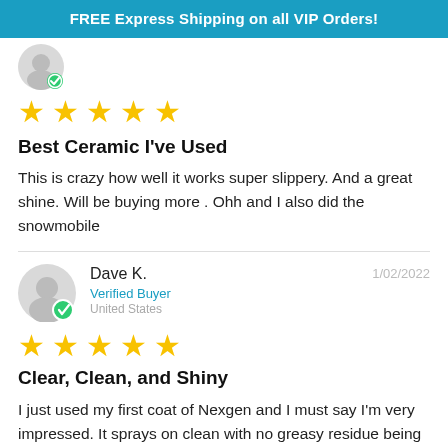FREE Express Shipping on all VIP Orders!
[Figure (illustration): Partial avatar circle (gray) with green verified badge, partially visible at top of first review]
[Figure (illustration): Five yellow stars rating for first review]
Best Ceramic I've Used
This is crazy how well it works super slippery. And a great shine. Will be buying more . Ohh and I also did the snowmobile
Dave K.  1/02/2022  Verified Buyer  United States
[Figure (illustration): Five yellow stars rating for second review (Dave K.)]
Clear, Clean, and Shiny
I just used my first coat of Nexgen and I must say I'm very impressed. It sprays on clean with no greasy residue being left behind. Living in Georgia we have bugs and